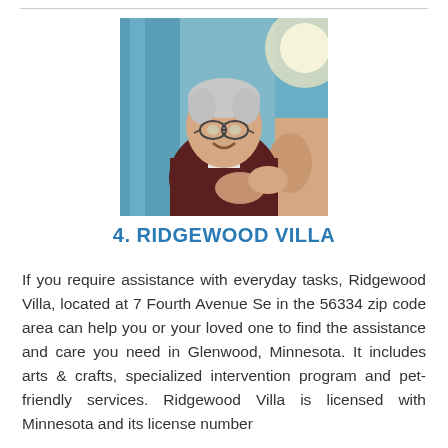[Figure (photo): An elderly man with glasses smiling and holding hands with a caregiver, with teal curtains in background.]
4. RIDGEWOOD VILLA
If you require assistance with everyday tasks, Ridgewood Villa, located at 7 Fourth Avenue Se in the 56334 zip code area can help you or your loved one to find the assistance and care you need in Glenwood, Minnesota. It includes arts & crafts, specialized intervention program and pet-friendly services. Ridgewood Villa is licensed with Minnesota and its license number